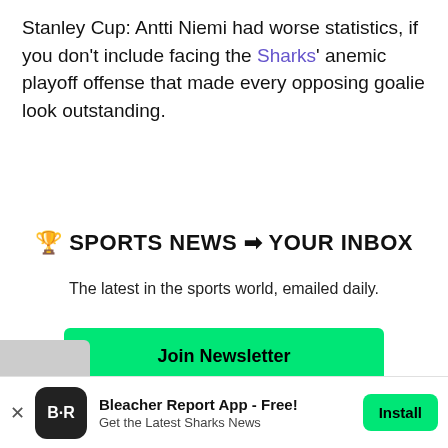Stanley Cup: Antti Niemi had worse statistics, if you don't include facing the Sharks' anemic playoff offense that made every opposing goalie look outstanding.
🏆 SPORTS NEWS → YOUR INBOX
The latest in the sports world, emailed daily.
Join Newsletter
Maybe Later
Bleacher Report App - Free! Get the Latest Sharks News